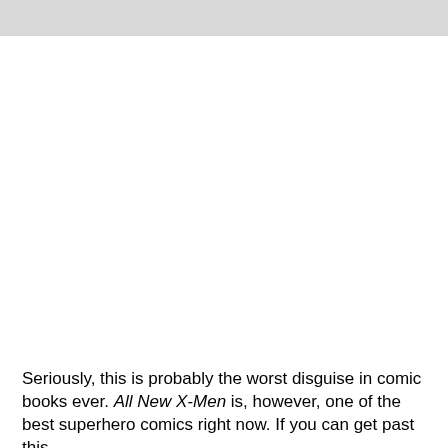[Figure (photo): Gray image placeholder strip at the top of the page]
Seriously, this is probably the worst disguise in comic books ever. All New X-Men is, however, one of the best superhero comics right now. If you can get past this.